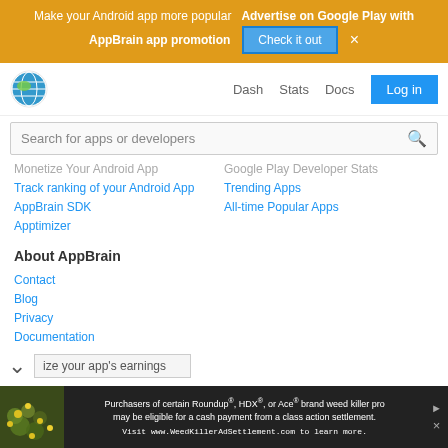Make your Android app more popular   Advertise on Google Play with AppBrain app promotion   Check it out   ×
[Figure (logo): AppBrain globe logo icon]
Dash   Stats   Docs   Log in
Search for apps or developers
Monetize Your Android App
Google Play Developer Stats
Track ranking of your Android App
Trending Apps
AppBrain SDK
All-time Popular Apps
Apptimizer
About AppBrain
Contact
Blog
Privacy
Documentation
Android Interstitial Ads: Best practices
ize your app's earnings
Purchasers of certain Roundup®, HDX®, or Ace® brand weed killer pro may be eligible for a cash payment from a class action settlement. Visit www.WeedKillerAdSettlement.com to learn more.